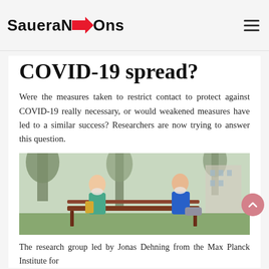SaueraNDS→Ons
COVID-19 spread?
Were the measures taken to restrict contact to protect against COVID-19 really necessary, or would weakened measures have led to a similar success? Researchers are now trying to answer this question.
[Figure (photo): Two people wearing face masks sitting on opposite ends of a park bench, maintaining social distance outdoors]
The research group led by Jonas Dehning from the Max Planck Institute for